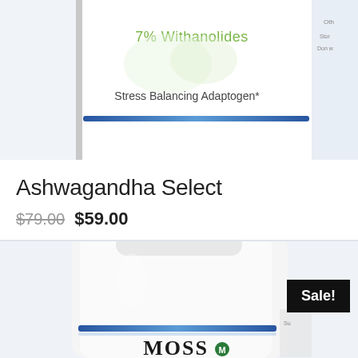[Figure (photo): Close-up of a white supplement bottle label showing '7% Withanolides' in green text, 'Stress Balancing Adaptogen*' in dark text, and a blue decorative bar stripe. The top portion of a Ashwagandha supplement bottle.]
Ashwagandha Select
$79.00 $59.00
[Figure (photo): White round supplement bottle with a blue stripe near the bottom and 'MOSS' text/logo visible at the base. A black 'Sale!' badge is overlaid in the top-right corner of the image.]